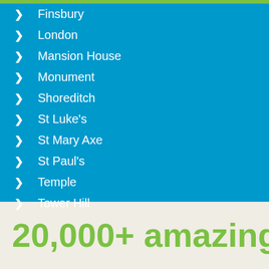Finsbury
London
Mansion House
Monument
Shoreditch
St Luke's
St Mary Axe
St Paul's
Temple
Tower Hill
20,000+ amazing